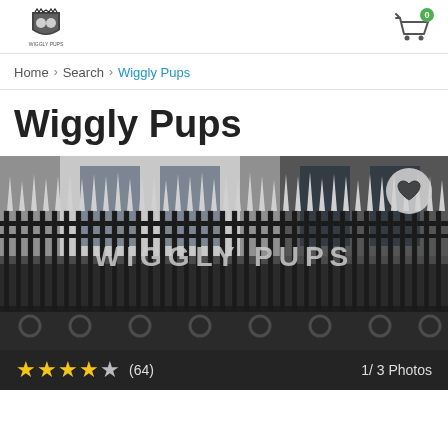Wiggly Pups logo and cart icon
Home > Search > Wiggly Pups
Wiggly Pups
[Figure (photo): Black and white photograph of ornate iron railings and gate with 'WIGGLY PUPS' lettering, showing a building exterior with decorative spear-tipped fence posts. A heart/favorite button overlay appears top right. Star rating (4 out of 5, 64 reviews) and '1/3 Photos' label at the bottom.]